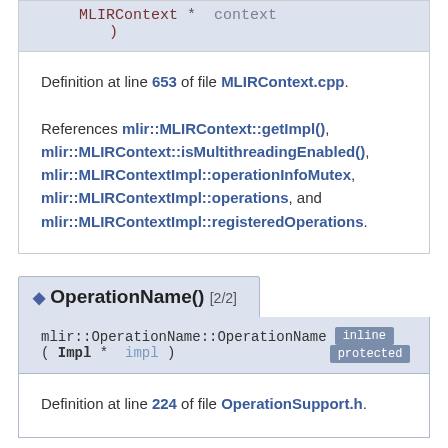MLIRContext * context
)
Definition at line 653 of file MLIRContext.cpp.

References mlir::MLIRContext::getImpl(), mlir::MLIRContext::isMultithreadingEnabled(), mlir::MLIRContextImpl::operationInfoMutex, mlir::MLIRContextImpl::operations, and mlir::MLIRContextImpl::registeredOperations.
◆ OperationName() [2/2]
mlir::OperationName::OperationName ( Impl * impl )   inline protected
Definition at line 224 of file OperationSupport.h.